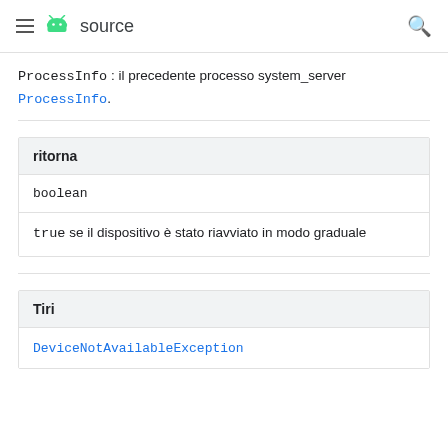≡ 🤖 source 🔍
ProcessInfo: il precedente processo system_server ProcessInfo.
| ritorna |
| --- |
| boolean |
| true se il dispositivo è stato riavviato in modo graduale |
| Tiri |
| --- |
| DeviceNotAvailableException |